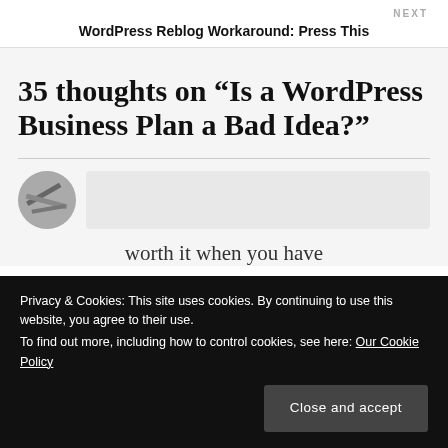NEXT
WordPress Reblog Workaround: Press This
35 thoughts on “Is a WordPress Business Plan a Bad Idea?”
[Figure (photo): Avatar thumbnail image partially visible, circular crop]
worth it when you have
Privacy & Cookies: This site uses cookies. By continuing to use this website, you agree to their use.
To find out more, including how to control cookies, see here: Our Cookie Policy
Close and accept